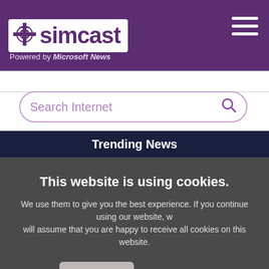simcast — Powered by Microsoft News
Search Internet
Trending News
This website is using cookies.
We use them to give you the best experience. If you continue using our website, we will assume that you are happy to receive all cookies on this website.
Continue   Learn more
hyped the arrests of 20 people with felony convictions for voting illegally as part of a crackdown on fraud. Defendants say they didn't know they did...